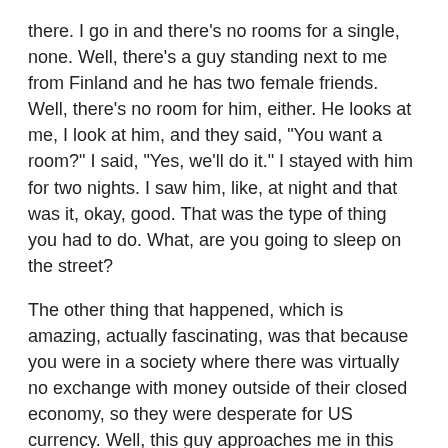there. I go in and there's no rooms for a single, none. Well, there's a guy standing next to me from Finland and he has two female friends. Well, there's no room for him, either. He looks at me, I look at him, and they said, "You want a room?" I said, "Yes, we'll do it." I stayed with him for two nights. I saw him, like, at night and that was it, okay, good. That was the type of thing you had to do. What, are you going to sleep on the street?
The other thing that happened, which is amazing, actually fascinating, was that because you were in a society where there was virtually no exchange with money outside of their closed economy, so they were desperate for US currency. Well, this guy approaches me in this other hotel lobby and asked me if I would exchange money. I said, "No thanks." He could've easily been part of the secret police. You didn't know. You just didn't know what was going to happen.
Prague, if you go there today, has been totally transformed, in terms of it's been cleaned up, it's been restored. At that time, it was very gray. I remember, on the famous bridge that goes across the Vltava River, the Charles Bridge, they had scaffolding that was all rusted. That's totally gone now. Then, on the way out of the Czech Republic, you're on the